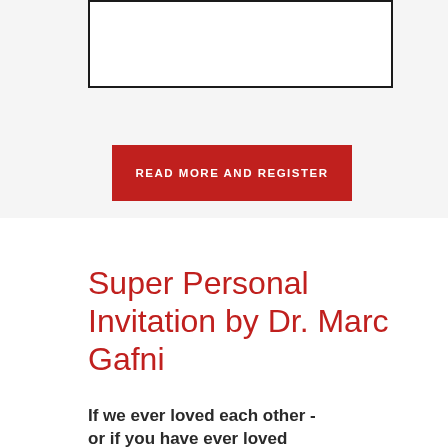[Figure (other): White rectangle with black border, appears to be a placeholder image box]
READ MORE AND REGISTER
Super Personal Invitation by Dr. Marc Gafni
If we ever loved each other - or if you have ever loved